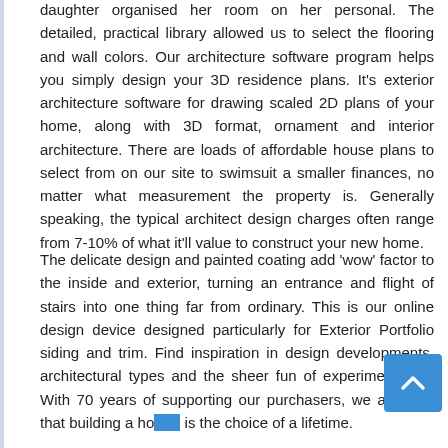daughter organised her room on her personal. The detailed, practical library allowed us to select the flooring and wall colors. Our architecture software program helps you simply design your 3D residence plans. It's exterior architecture software for drawing scaled 2D plans of your home, along with 3D format, ornament and interior architecture. There are loads of affordable house plans to select from on our site to swimsuit a smaller finances, no matter what measurement the property is. Generally speaking, the typical architect design charges often range from 7-10% of what it'll value to construct your new home.
The delicate design and painted coating add 'wow' factor to the inside and exterior, turning an entrance and flight of stairs into one thing far from ordinary. This is our online design device designed particularly for Exterior Portfolio siding and trim. Find inspiration in design developments, architectural types and the sheer fun of experimentation. With 70 years of supporting our purchasers, we all know that building a house is the choice of a lifetime.